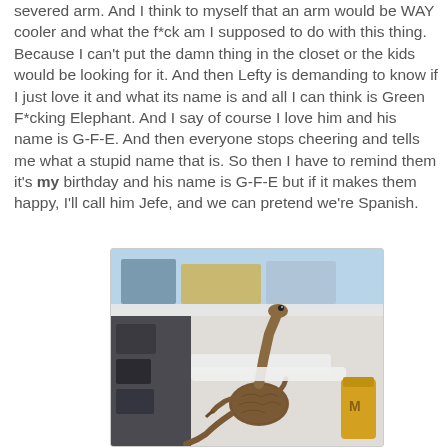severed arm. And I think to myself that an arm would be WAY cooler and what the f*ck am I supposed to do with this thing. Because I can't put the damn thing in the closet or the kids would be looking for it. And then Lefty is demanding to know if I just love it and what its name is and all I can think is Green F*cking Elephant. And I say of course I love him and his name is G-F-E. And then everyone stops cheering and tells me what a stupid name that is. So then I have to remind them it's my birthday and his name is G-F-E but if it makes them happy, I'll call him Jefe, and we can pretend we're Spanish.
[Figure (photo): A lizard or reptile clinging to the inside of an open refrigerator, reaching upward with its head, surrounded by food items and condiments on the refrigerator shelves.]